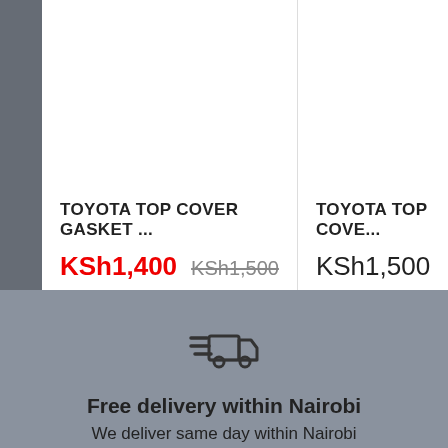TOYOTA TOP COVER GASKET ...
KSh1,400  KSh1,500
TOYOTA TOP COVE...
KSh1,500
[Figure (illustration): Fast delivery truck icon with speed lines]
Free delivery within Nairobi
We deliver same day within Nairobi
[Figure (illustration): Shopping cart with return arrow icon]